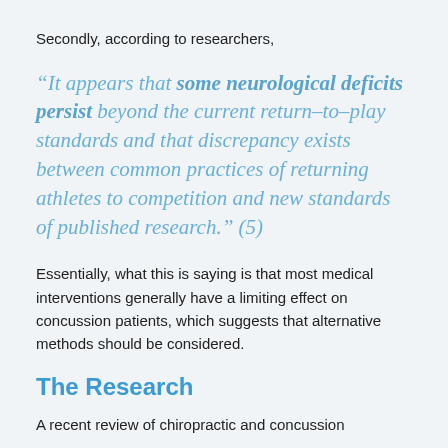Secondly, according to researchers,
“It appears that some neurological deficits persist beyond the current return–to–play standards and that discrepancy exists between common practices of returning athletes to competition and new standards of published research.” (5)
Essentially, what this is saying is that most medical interventions generally have a limiting effect on concussion patients, which suggests that alternative methods should be considered.
The Research
A recent review of chiropractic and concussion